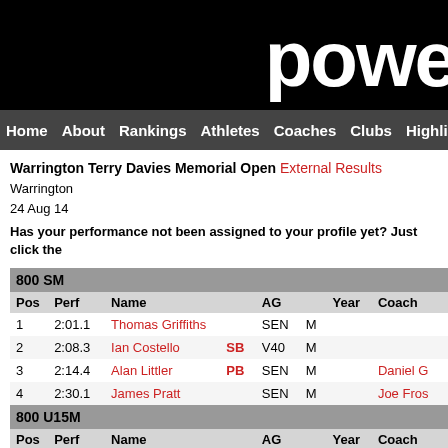powe
Home | About | Rankings | Athletes | Coaches | Clubs | Highlights
Warrington Terry Davies Memorial Open External Results
Warrington
24 Aug 14
Has your performance not been assigned to your profile yet? Just click the
| 800 SM |  |  |  |  |  |  |  |
| --- | --- | --- | --- | --- | --- | --- | --- |
| Pos | Perf | Name |  | AG |  | Year | Coach |
| 1 | 2:01.1 | Thomas Griffiths |  | SEN | M |  |  |
| 2 | 2:08.3 | Ian Costello | SB | V40 | M |  |  |
| 3 | 2:14.4 | Alan Littler | PB | SEN | M |  | Daniel G |
| 4 | 2:30.1 | James Pratt |  | SEN | M |  | Joe Fros |
| 800 U15M |  |  |  |  |  |  |  |
| --- | --- | --- | --- | --- | --- | --- | --- |
| Pos | Perf | Name |  | AG |  | Year | Coach |
| 1 | 2:16.4 | Ben Lee |  | U15 | M | 1 | Andrew |